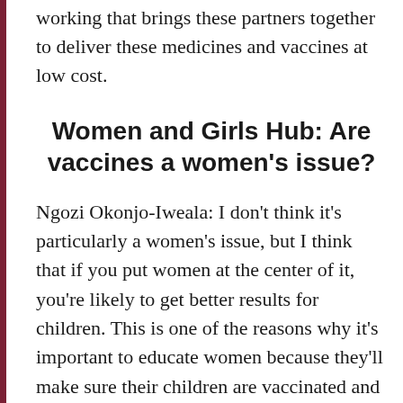working that brings these partners together to deliver these medicines and vaccines at low cost.
Women and Girls Hub: Are vaccines a women's issue?
Ngozi Okonjo-Iweala: I don't think it's particularly a women's issue, but I think that if you put women at the center of it, you're likely to get better results for children. This is one of the reasons why it's important to educate women because they'll make sure their children are vaccinated and even educate the men so that they don't prevent women from taking their children to access this. Also, we need to educate governments about the cost savings from